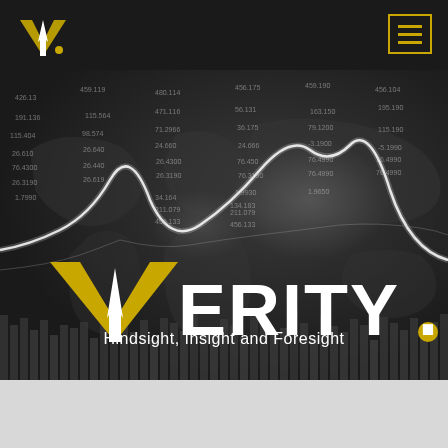[Figure (logo): Verity logo mark — yellow V shape with white upward arrow, on dark background navbar]
[Figure (screenshot): Hero banner: dark financial background with world map, glowing white line chart, stock ticker numbers overlay, bar chart silhouette at bottom, VERITY. logo in large white and yellow text, tagline 'Hindsight, Insight and Foresight']
VERITY.
Hindsight, Insight and Foresight